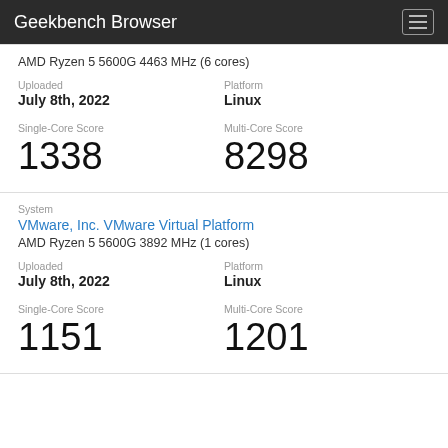Geekbench Browser
AMD Ryzen 5 5600G 4463 MHz (6 cores)
Uploaded
July 8th, 2022
Platform
Linux
Single-Core Score
1338
Multi-Core Score
8298
System
VMware, Inc. VMware Virtual Platform
AMD Ryzen 5 5600G 3892 MHz (1 cores)
Uploaded
July 8th, 2022
Platform
Linux
Single-Core Score
1151
Multi-Core Score
1201